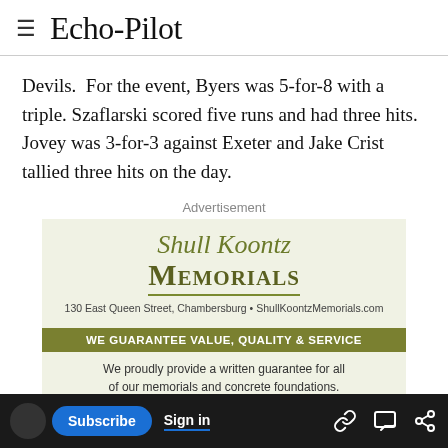Echo-Pilot
Devils.  For the event, Byers was 5-for-8 with a triple. Szaflarski scored five runs and had three hits. Jovey was 3-for-3 against Exeter and Jake Crist tallied three hits on the day.
Advertisement
[Figure (other): Shull Koontz Memorials advertisement. Light green background. Script text reads 'Shull Koontz' above bold serif 'MEMORIALS'. Address: 130 East Queen Street, Chambersburg • ShullKoontzMemorials.com. Olive green banner: WE GUARANTEE VALUE, QUALITY & SERVICE. Body text: We proudly provide a written guarantee for all of our memorials and concrete foundations.]